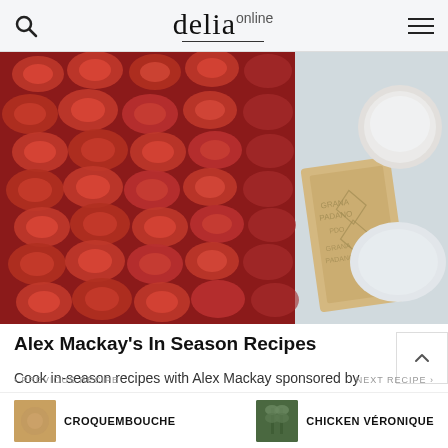delia online
[Figure (photo): Close-up overhead photo of a tomatoe tart/bake with sliced tomatoes laid out in rows, alongside a wedge of Grana Padano PDO cheese stamped with its official marks, a bowl of cream or dip, and a plate with a tomato dish in the background.]
Alex Mackay's In Season Recipes
Cook in-season recipes with Alex Mackay sponsored by Grana Padano PDO cheese
PREVIOUS RECIPE
CROQUEMBOUCHE
NEXT RECIPE
CHICKEN VÉRONIQUE